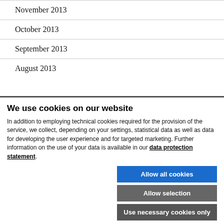November 2013
October 2013
September 2013
August 2013
We use cookies on our website
In addition to employing technical cookies required for the provision of the service, we collect, depending on your settings, statistical data as well as data for developing the user experience and for targeted marketing. Further information on the use of your data is available in our data protection statement.
Allow all cookies
Allow selection
Use necessary cookies only
Necessary technical cookies  Functional cookies  Statistics cookies  Marketing cookies  Show details